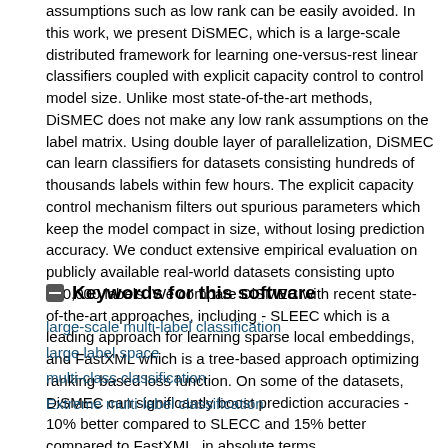assumptions such as low rank can be easily avoided. In this work, we present DiSMEC, which is a large-scale distributed framework for learning one-versus-rest linear classifiers coupled with explicit capacity control to control model size. Unlike most state-of-the-art methods, DiSMEC does not make any low rank assumptions on the label matrix. Using double layer of parallelization, DiSMEC can learn classifiers for datasets consisting hundreds of thousands labels within few hours. The explicit capacity control mechanism filters out spurious parameters which keep the model compact in size, without losing prediction accuracy. We conduct extensive empirical evaluation on publicly available real-world datasets consisting upto 670,000 labels. We compare DiSMEC with recent state-of-the-art approaches, including - SLEEC which is a leading approach for learning sparse local embeddings, and FastXML which is a tree-based approach optimizing ranking based loss function. On some of the datasets, DiSMEC can significantly boost prediction accuracies - 10% better compared to SLECC and 15% better compared to FastXML, in absolute terms.
Keywords for this software
large-scale multi-label classification
large label space
multi-class classification
Extreme multi-label classification